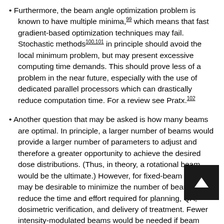Furthermore, the beam angle optimization problem is known to have multiple minima,99 which means that fast gradient-based optimization techniques may fail. Stochastic methods100,101 in principle should avoid the local minimum problem, but may present excessive computing time demands. This should prove less of a problem in the near future, especially with the use of dedicated parallel processors which can drastically reduce computation time. For a review see Pratx.102
Another question that may be asked is how many beams are optimal. In principle, a larger number of beams would provide a larger number of parameters to adjust and therefore a greater opportunity to achieve the desired dose distributions. (Thus, in theory, a rotational beam would be the ultimate.) However, for fixed-beam IMRT, it may be desirable to minimize the number of beams to reduce the time and effort required for planning, QA, dosimetric verification, and delivery of treatment. Fewer intensity-modulated beams would be needed if beam angles were optimized than if the beams were placed at equiangular steps. Calculations by Webb11 indicate that 7 or 9 fields give adequate conformal dose distributions for both serial tomotherapy and fixed gantry IMRT.
Figure 1-2 compares prostate treatment plans employing different